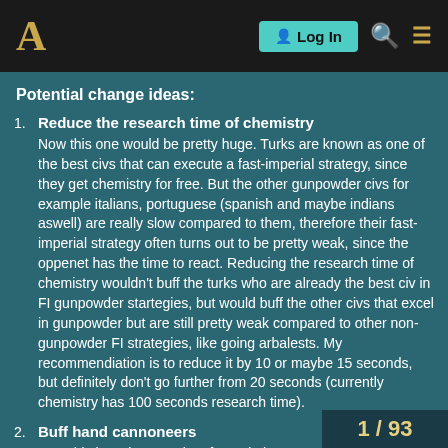A [logo] | Log In | [search] [menu]
Potential change ideas:
1. Reduce the research time of chemistry
Now this one would be pretty huge. Turks are known as one of the best civs that can execute a fast-imperial strategy, since they get chemistry for free. But the other gunpowder civs for example italians, portuguese (spanish and maybe indians aswell) are really slow compared to them, therefore their fast-imperial strategy often turns out to be pretty weak, since the oppenet has the time to react. Reducing the research time of chemistry wouldn't buff the turks who are already the best civ in FI gunpowder startegies, but would buff the other civs that excel in gunpowder but are still pretty weak compared to other non-gunpowder FI strategies, like going arbalests. My recommendiation is to reduce it by 10 or maybe 15 seconds, but definitely don't go further from 20 seconds (currently chemistry has 100 seconds research time).
2. Buff hand cannoneers
Now this is a change a lot of people hav...
1 / 93